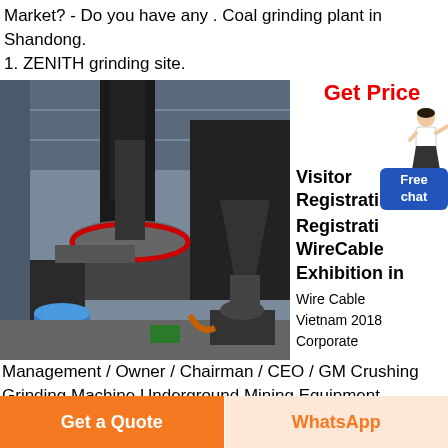Market? - Do you have any . Coal grinding plant in Shandong. 1. ZENITH grinding site.
Get Price
[Figure (photo): Industrial coal grinding plant machinery inside a warehouse/factory building showing large grinding equipment, pipes, and hoppers]
Visitor Registration Registration WireCable Exhibition in Wire Cable Vietnam 2018 Corporate
Free chat
Management / Owner / Chairman / CEO / GM Crushing Grinding Machine Underground Mining Equipment
Get a Quote
WhatsApp